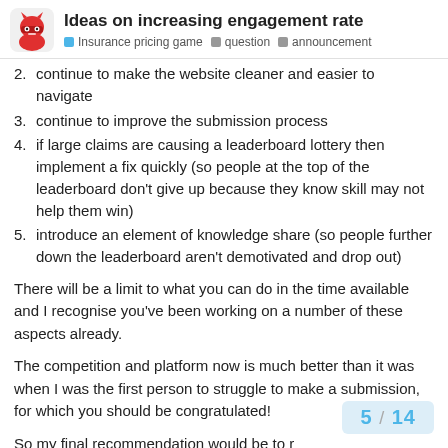Ideas on increasing engagement rate | Insurance pricing game · question · announcement
continue to make the website cleaner and easier to navigate
continue to improve the submission process
if large claims are causing a leaderboard lottery then implement a fix quickly (so people at the top of the leaderboard don't give up because they know skill may not help them win)
introduce an element of knowledge share (so people further down the leaderboard aren't demotivated and drop out)
There will be a limit to what you can do in the time available and I recognise you've been working on a number of these aspects already.
The competition and platform now is much better than it was when I was the first person to struggle to make a submission, for which you should be congratulated!
So my final recommendation would be to r
5 / 14